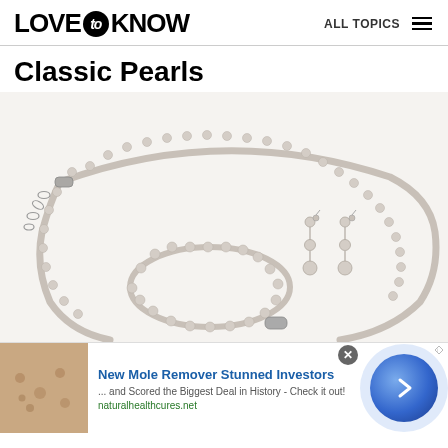LOVE to KNOW  ALL TOPICS
Classic Pearls
[Figure (photo): Pearl jewelry set including a necklace, bracelet, and drop earrings displayed on a white background. The pieces feature small spherical silver-toned beads/pearls strung together with silver clasps.]
[Figure (infographic): Advertisement banner: 'New Mole Remover Stunned Investors ... and Scored the Biggest Deal in History - Check it out! naturalhealthcures.net' with a skin photo on the left and a blue arrow button on the right.]